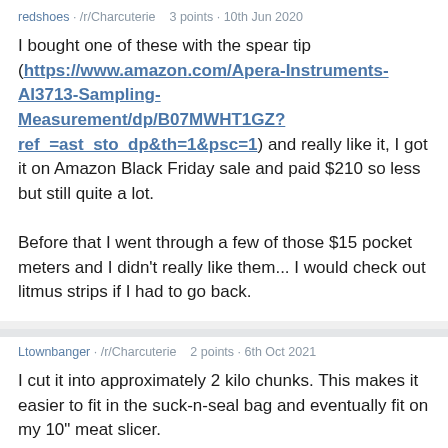redshoes · /r/Charcuterie   3 points · 10th Jun 2020
I bought one of these with the spear tip (https://www.amazon.com/Apera-Instruments-AI3713-Sampling-Measurement/dp/B07MWHT1GZ?ref_=ast_sto_dp&th=1&psc=1) and really like it, I got it on Amazon Black Friday sale and paid $210 so less but still quite a lot.

Before that I went through a few of those $15 pocket meters and I didn't really like them... I would check out litmus strips if I had to go back.
Ltownbanger · /r/Charcuterie   2 points · 6th Oct 2021
I cut it into approximately 2 kilo chunks. This makes it easier to fit in the suck-n-seal bag and eventually fit on my 10" meat slicer.